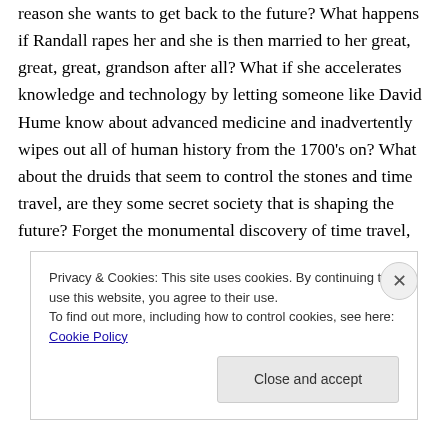reason she wants to get back to the future? What happens if Randall rapes her and she is then married to her great, great, great, grandson after all? What if she accelerates knowledge and technology by letting someone like David Hume know about advanced medicine and inadvertently wipes out all of human history from the 1700's on? What about the druids that seem to control the stones and time travel, are they some secret society that is shaping the future? Forget the monumental discovery of time travel,
Privacy & Cookies: This site uses cookies. By continuing to use this website, you agree to their use.
To find out more, including how to control cookies, see here: Cookie Policy